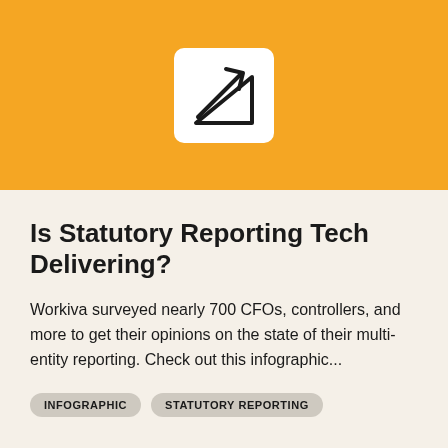[Figure (logo): White rounded square icon containing a black upward-trending arrow over a triangle/chart shape, on an orange background]
Is Statutory Reporting Tech Delivering?
Workiva surveyed nearly 700 CFOs, controllers, and more to get their opinions on the state of their multi-entity reporting. Check out this infographic...
INFOGRAPHIC
STATUTORY REPORTING